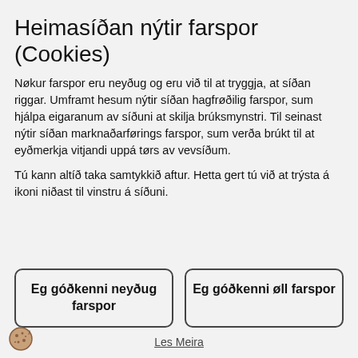Heimasíðan nýtir farspor (Cookies)
Nøkur farspor eru neyðug og eru við til at tryggja, at síðan riggar. Umframt hesum nýtir síðan hagfrøðilig farspor, sum hjálpa eigaranum av síðuni at skilja brúksmynstri. Til seinast nýtir síðan marknaðarførings farspor, sum verða brúkt til at eyðmerkja vitjandi uppá tørs av vevsíðum.
Tú kann altíð taka samtykkið aftur. Hetta gert tú við at trýsta á ikoni niðast til vinstru á síðuni.
Eg góðkenni neyðug farspor
Eg góðkenni øll farspor
Les Meira